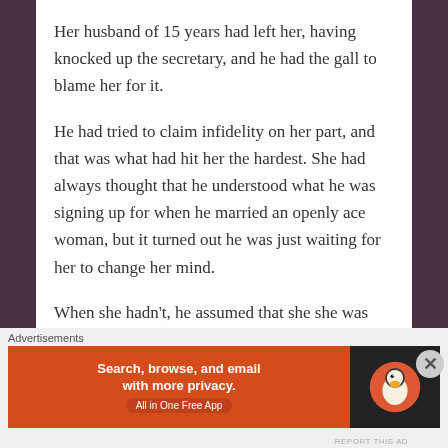REPORT THIS AD
Her husband of 15 years had left her, having knocked up the secretary, and he had the gall to blame her for it.
He had tried to claim infidelity on her part, and that was what had hit her the hardest. She had always thought that he understood what he was signing up for when he married an openly ace woman, but it turned out he was just waiting for her to change her mind.
When she hadn't, he assumed that she she was seeing someone else, and that it was only fair that he get his own action. He said he wanted kids that were actually his, and
Advertisements
[Figure (other): DuckDuckGo advertisement banner: orange left panel with text 'Search, browse, and email with more privacy. All in One Free App' and dark right panel with DuckDuckGo duck logo]
REPORT THIS AD